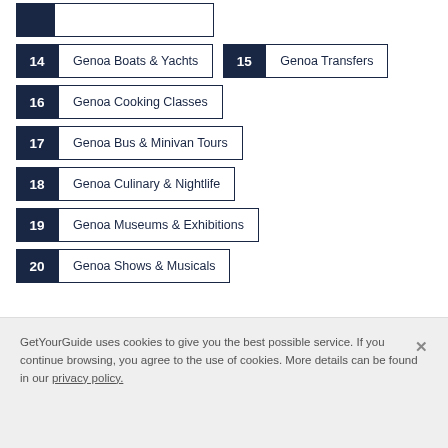14 Genoa Boats & Yachts
15 Genoa Transfers
16 Genoa Cooking Classes
17 Genoa Bus & Minivan Tours
18 Genoa Culinary & Nightlife
19 Genoa Museums & Exhibitions
20 Genoa Shows & Musicals
GetYourGuide uses cookies to give you the best possible service. If you continue browsing, you agree to the use of cookies. More details can be found in our privacy policy.